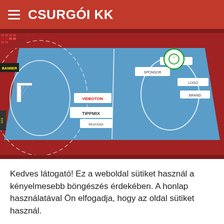CSURGÓI KK
[Figure (photo): Aerial perspective view of a handball/sports court with blue floor and sponsor logos, surrounded by red padding, inside an arena with red seating visible in the background.]
Kedves látogató! Ez a weboldal sütiket használ a kényelmesebb böngészés érdekében. A honlap használatával Ön elfogadja, hogy az oldal sütiket használ.
Sütik beállítása
Sütik elfogadása